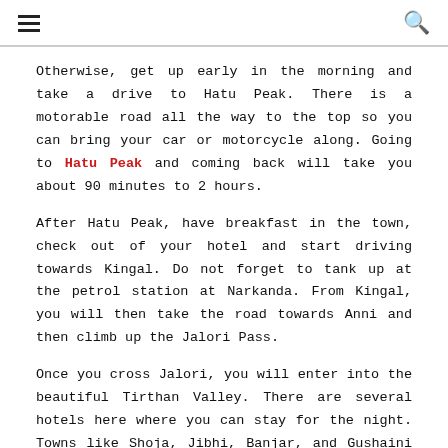≡  🔍
Otherwise, get up early in the morning and take a drive to Hatu Peak. There is a motorable road all the way to the top so you can bring your car or motorcycle along. Going to Hatu Peak and coming back will take you about 90 minutes to 2 hours.
After Hatu Peak, have breakfast in the town, check out of your hotel and start driving towards Kingal. Do not forget to tank up at the petrol station at Narkanda. From Kingal, you will then take the road towards Anni and then climb up the Jalori Pass.
Once you cross Jalori, you will enter into the beautiful Tirthan Valley. There are several hotels here where you can stay for the night. Towns like Shoja, Jibhi, Banjar, and Gushaini are all well-known tourist places and good enough to stay.